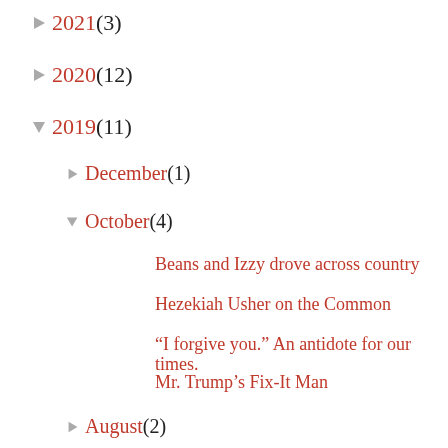2021 (3)
2020 (12)
2019 (11)
December (1)
October (4)
Beans and Izzy drove across country
Hezekiah Usher on the Common
“I forgive you.” An antidote for our times.
Mr. Trump’s Fix-It Man
August (2)
June (1)